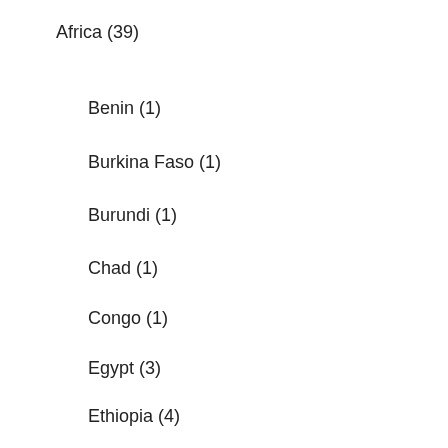Africa (39)
Benin (1)
Burkina Faso (1)
Burundi (1)
Chad (1)
Congo (1)
Egypt (3)
Ethiopia (4)
Gambia (1)
Kenya (2)
Liberia (1)
Libya (1)